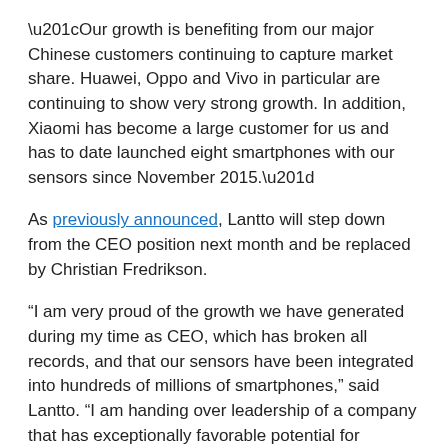“Our growth is benefiting from our major Chinese customers continuing to capture market share. Huawei, Oppo and Vivo in particular are continuing to show very strong growth. In addition, Xiaomi has become a large customer for us and has to date launched eight smartphones with our sensors since November 2015.”
As previously announced, Lantto will step down from the CEO position next month and be replaced by Christian Fredrikson.
“I am very proud of the growth we have generated during my time as CEO, which has broken all records, and that our sensors have been integrated into hundreds of millions of smartphones,” said Lantto. “I am handing over leadership of a company that has exceptionally favorable potential for continued sharp growth and I am convinced that the strong organization and world-leading technology we have brought forward in the recent years will ensure that FPC will remain the leading supplier of fingerprint sensors.”
Article Topics